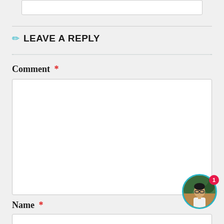LEAVE A REPLY
Comment *
Name *
[Figure (photo): Circular avatar photo of a person wearing glasses, with a teal/cyan border and a red notification badge showing the number 1]